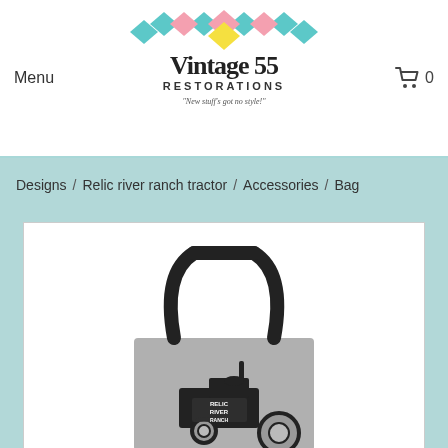Menu | Vintage 55 Restorations | Cart 0
Designs / Relic river ranch tractor / Accessories / Bag
[Figure (photo): Product photo of a tote bag with black handles on a light gray background. The bag features a black illustration of a vintage tractor with the text RELIC RIVER RANCH printed on it.]